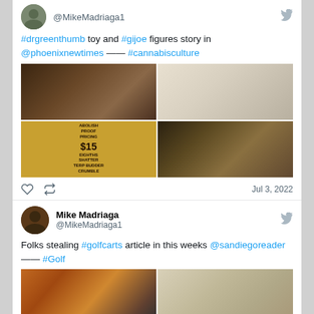@MikeMadriaga1
#drgreenthumb toy and #gijoe figures story in @phoenixnewtimes —— #cannabisculture
[Figure (photo): 2x2 grid of photos showing newspaper/magazine pages with toy figures and a $15 pricing advertisement]
Jul 3, 2022
Mike Madriaga @MikeMadriaga1
Folks stealing #golfcarts article in this weeks @sandiegoreader —— #Golf
[Figure (photo): Grid of photos showing golf cart accident/article and magazine spreads]